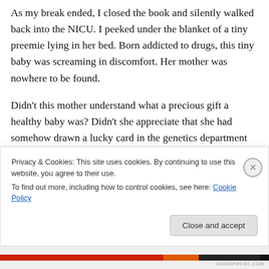As my break ended, I closed the book and silently walked back into the NICU. I peeked under the blanket of a tiny preemie lying in her bed. Born addicted to drugs, this tiny baby was screaming in discomfort. Her mother was nowhere to be found.
Didn't this mother understand what a precious gift a healthy baby was? Didn't she appreciate that she had somehow drawn a lucky card in the genetics department and had given birth to a baby without a disability? Why would she damage her child by doing drugs during her
Privacy & Cookies: This site uses cookies. By continuing to use this website, you agree to their use.
To find out more, including how to control cookies, see here: Cookie Policy